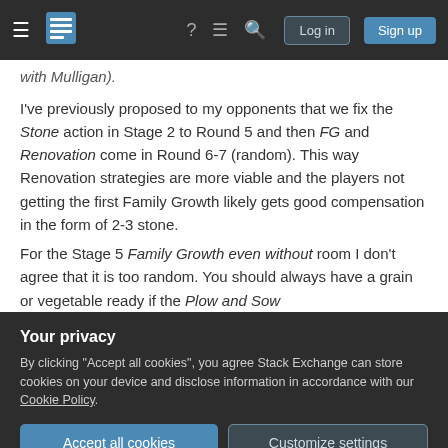Stack Exchange navigation bar with hamburger menu, logo, help, chat, search icons, Log in and Sign up buttons
with Mulligan).
I've previously proposed to my opponents that we fix the Stone action in Stage 2 to Round 5 and then FG and Renovation come in Round 6-7 (random). This way Renovation strategies are more viable and the players not getting the first Family Growth likely gets good compensation in the form of 2-3 stone.
For the Stage 5 Family Growth even without room I don't agree that it is too random. You should always have a grain or vegetable ready if the Plow and Sow
Your privacy
By clicking "Accept all cookies", you agree Stack Exchange can store cookies on your device and disclose information in accordance with our Cookie Policy.
worth at least 3 points (4 if you afford to breed it